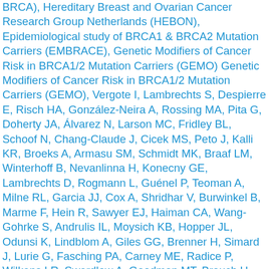BRCA), Hereditary Breast and Ovarian Cancer Research Group Netherlands (HEBON), Epidemiological study of BRCA1 & BRCA2 Mutation Carriers (EMBRACE), Genetic Modifiers of Cancer Risk in BRCA1/2 Mutation Carriers (GEMO) Genetic Modifiers of Cancer Risk in BRCA1/2 Mutation Carriers (GEMO), Vergote I, Lambrechts S, Despierre E, Risch HA, González-Neira A, Rossing MA, Pita G, Doherty JA, Álvarez N, Larson MC, Fridley BL, Schoof N, Chang-Claude J, Cicek MS, Peto J, Kalli KR, Broeks A, Armasu SM, Schmidt MK, Braaf LM, Winterhoff B, Nevanlinna H, Konecny GE, Lambrechts D, Rogmann L, Guénel P, Teoman A, Milne RL, Garcia JJ, Cox A, Shridhar V, Burwinkel B, Marme F, Hein R, Sawyer EJ, Haiman CA, Wang-Gohrke S, Andrulis IL, Moysich KB, Hopper JL, Odunsi K, Lindblom A, Giles GG, Brenner H, Simard J, Lurie G, Fasching PA, Carney ME, Radice P, Wilkens LR, Swerdlow A, Goodman MT, Brauch H, García-Closas M, Hillemanns P, Winqvist R, Dürst M, Devilee P, Runnebaum I, Jakubowska A, Lubinski J, Mannermaa A, Butzow R, Bogdanova NV, Dörk T, Pelttari LM, Zheng W, Leminen A, Anton-Culver H, Bunker CH, Kristensen V, Ness RB, Muir